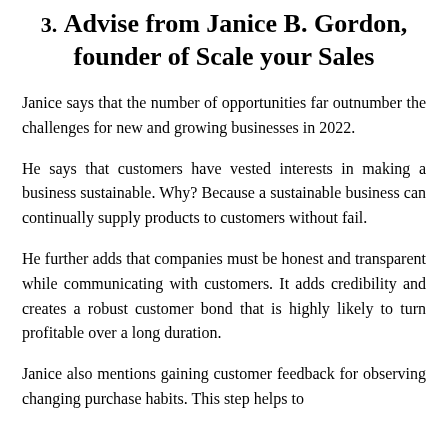3. Advise from Janice B. Gordon, founder of Scale your Sales
Janice says that the number of opportunities far outnumber the challenges for new and growing businesses in 2022.
He says that customers have vested interests in making a business sustainable. Why? Because a sustainable business can continually supply products to customers without fail.
He further adds that companies must be honest and transparent while communicating with customers. It adds credibility and creates a robust customer bond that is highly likely to turn profitable over a long duration.
Janice also mentions gaining customer feedback for observing changing purchase habits. This step helps to